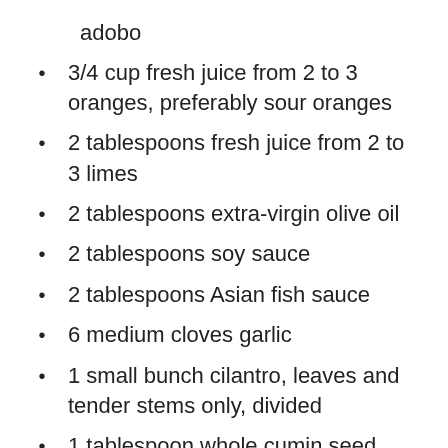adobo
3/4 cup fresh juice from 2 to 3 oranges, preferably sour oranges
2 tablespoons fresh juice from 2 to 3 limes
2 tablespoons extra-virgin olive oil
2 tablespoons soy sauce
2 tablespoons Asian fish sauce
6 medium cloves garlic
1 small bunch cilantro, leaves and tender stems only, divided
1 tablespoon whole cumin seed, toasted and ground
1 teaspoon whole coriander seed,